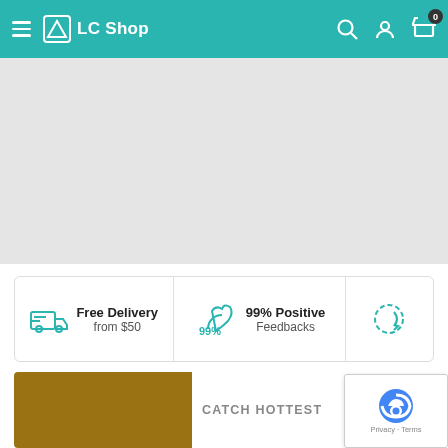LC Shop — navigation bar with hamburger menu, logo, search, user, and cart (0 items)
[Figure (screenshot): Gray banner/hero image area (placeholder)]
Free Delivery from $50
99% Positive Feedbacks
[Figure (illustration): Circular refresh/return icon (teal)]
[Figure (photo): Brown/golden colored product image area]
CATCH HOTTEST
[Figure (other): reCAPTCHA badge with Privacy · Terms]